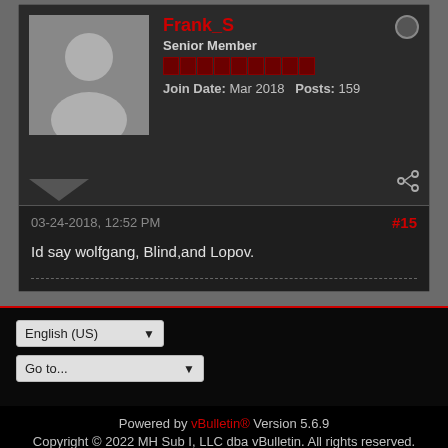Frank_S
Senior Member
Join Date: Mar 2018   Posts: 159
03-24-2018, 12:52 PM   #15
Id say wolfgang, Blind,and Lopov.
English (US)
Go to...
Powered by vBulletin® Version 5.6.9
Copyright © 2022 MH Sub I, LLC dba vBulletin. All rights reserved.
All times are GMT. This page was generated at 12:34 PM.